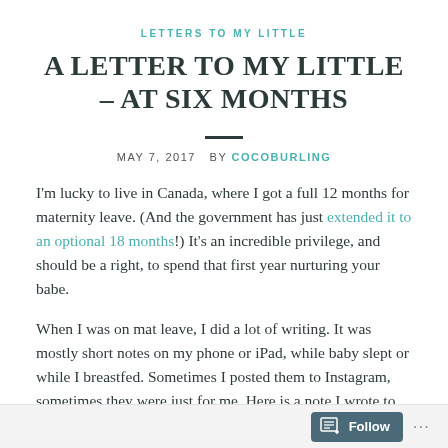LETTERS TO MY LITTLE
A LETTER TO MY LITTLE – AT SIX MONTHS
MAY 7, 2017  BY COCOBURLING
I'm lucky to live in Canada, where I got a full 12 months for maternity leave. (And the government has just extended it to an optional 18 months!) It's an incredible privilege, and should be a right, to spend that first year nurturing your babe.
When I was on mat leave, I did a lot of writing. It was mostly short notes on my phone or iPad, while baby slept or while I breastfed. Sometimes I posted them to Instagram, sometimes they were just for me. Here is a note I wrote to EJ when he
Follow ...